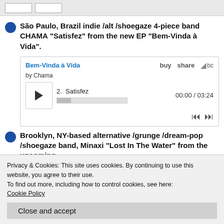São Paulo, Brazil indie /alt /shoegaze 4-piece band CHAMA “Satisfez” from the new EP “Bem-Vinda à Vida”.
[Figure (screenshot): Bandcamp music player widget showing album 'Bem-Vinda à Vida' by Chama, with track 2. Satisfez, time 00:00 / 03:24, play button, progress bar, and navigation controls.]
Brooklyn, NY-based alternative /grunge /dream-pop /shoegaze band, Minaxi “Lost In The Water” from the upcoming
Privacy & Cookies: This site uses cookies. By continuing to use this website, you agree to their use.
To find out more, including how to control cookies, see here:
Cookie Policy
Close and accept